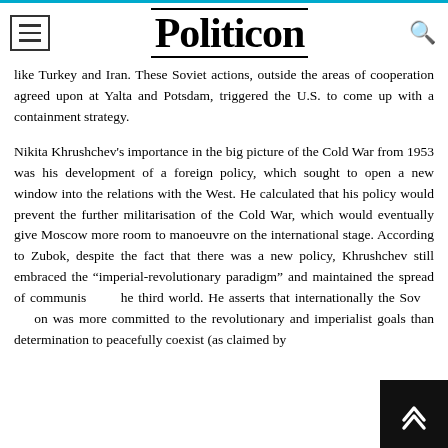Politicon
like Turkey and Iran. These Soviet actions, outside the areas of cooperation agreed upon at Yalta and Potsdam, triggered the U.S. to come up with a containment strategy.
Nikita Khrushchev's importance in the big picture of the Cold War from 1953 was his development of a foreign policy, which sought to open a new window into the relations with the West. He calculated that his policy would prevent the further militarisation of the Cold War, which would eventually give Moscow more room to manoeuvre on the international stage. According to Zubok, despite the fact that there was a new policy, Khrushchev still embraced the “imperial-revolutionary paradigm” and maintained the spread of communis… he third world. He asserts that internationally the Sov… on was more committed to the revolutionary and imperialist goals than determination to peacefully coexist (as claimed by